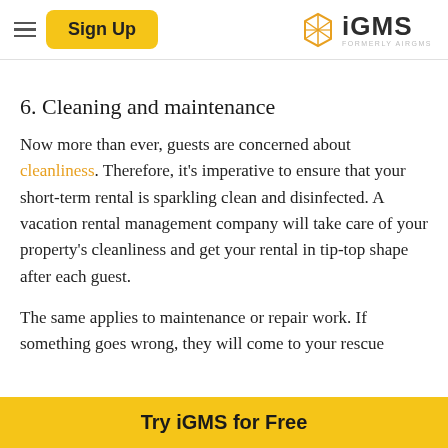Sign Up | iGMS FORMERLY AIRGMS
6. Cleaning and maintenance
Now more than ever, guests are concerned about cleanliness. Therefore, it's imperative to ensure that your short-term rental is sparkling clean and disinfected. A vacation rental management company will take care of your property's cleanliness and get your rental in tip-top shape after each guest.
The same applies to maintenance or repair work. If something goes wrong, they will come to your rescue
Try iGMS for Free